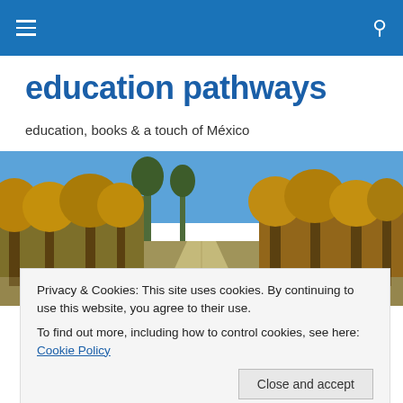navigation bar with hamburger menu and search icon
education pathways
education, books & a touch of México
[Figure (photo): A rural dirt road stretching into the distance, flanked by trees with autumn golden foliage under a clear blue sky.]
Privacy & Cookies: This site uses cookies. By continuing to use this website, you agree to their use.
To find out more, including how to control cookies, see here: Cookie Policy

[Close and accept]
St. Paddy's Day novella